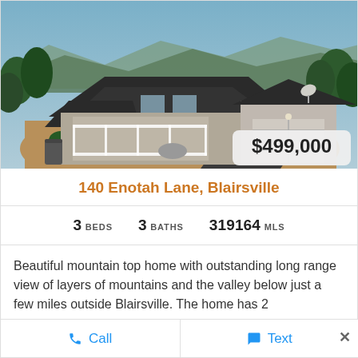[Figure (photo): Aerial view of a mountain top home with dark roof, covered porch with white railing, attached two-car garage, landscaped yard with shrubs, and mountain views in the background. A price badge showing $499,000 is overlaid in the bottom right corner.]
140 Enotah Lane, Blairsville
3 BEDS   3 BATHS   319164 MLS
Beautiful mountain top home with outstanding long range view of layers of mountains and the valley below just a few miles outside Blairsville. The home has 2
Call   Text   ×